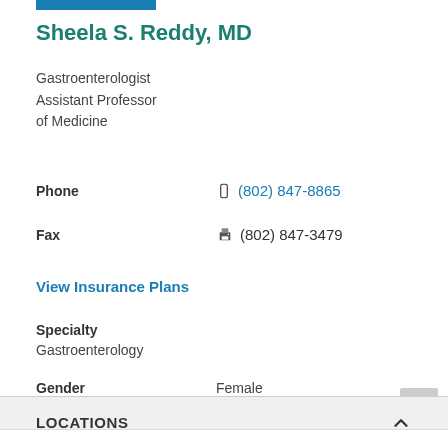Sheela S. Reddy, MD
Gastroenterologist
Assistant Professor
of Medicine
Phone  (802) 847-8865
Fax  (802) 847-3479
View Insurance Plans
Specialty
Gastroenterology
Gender  Female
LOCATIONS